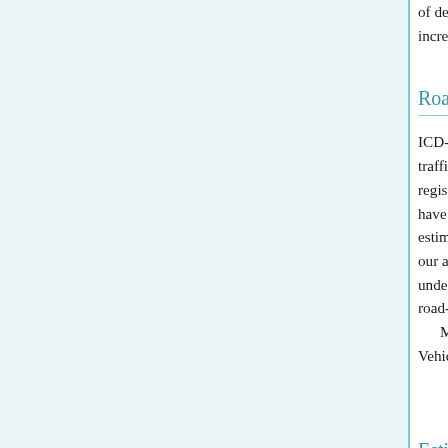of death in the event of a crash) also declines, resulting in increasing death rates with age.
Road deaths by type of road-user
ICD-coded death registration data typically allows traffic deaths into road-user categories. However, registration data, only a small fraction of (24%, have an identified road-user type. Thus using de estimating such disaggregation is likely to lead t our analysis of death registration data has shown under-report road traffic deaths in Sri Lanka. Th road-user distribution of road injury deaths rates Most road deaths (36%) in Sri Lanka occur am Vehicle occupants comprise an additional third o
Estimates of non-fatal road injuries
The incidence of non-fatal road injuries...